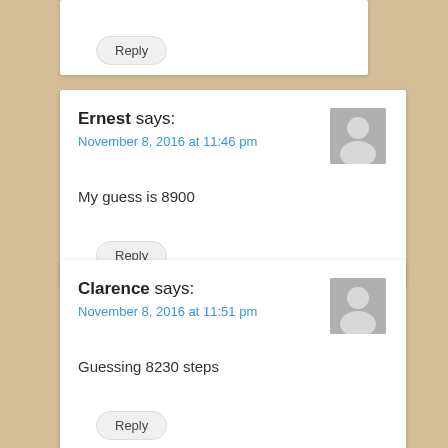Reply
Ernest says:
November 8, 2016 at 11:46 pm
My guess is 8900
Reply
Clarence says:
November 8, 2016 at 11:51 pm
Guessing 8230 steps
Reply